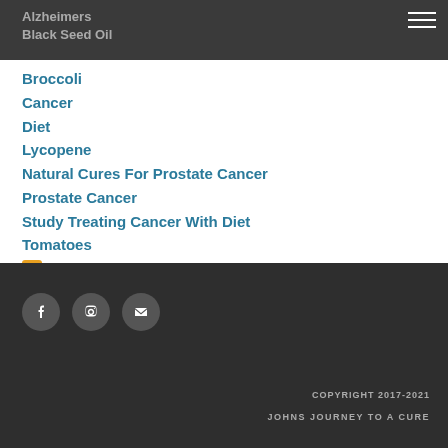Alzheimers | Black Seed Oil
Broccoli
Cancer
Diet
Lycopene
Natural Cures For Prostate Cancer
Prostate Cancer
Study Treating Cancer With Diet
Tomatoes
RSS Feed
COPYRIGHT 2017-2021 JOHNS JOURNEY TO A CURE